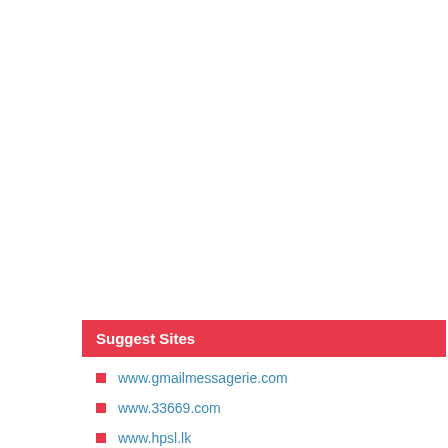Suggest Sites
www.gmailmessagerie.com
www.33669.com
www.hpsl.lk